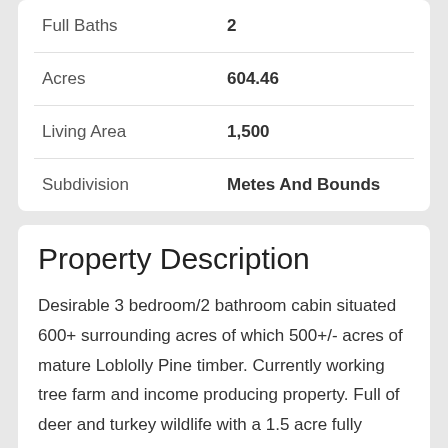| Property | Value |
| --- | --- |
| Full Baths | 2 |
| Acres | 604.46 |
| Living Area | 1,500 |
| Subdivision | Metes And Bounds |
Property Description
Desirable 3 bedroom/2 bathroom cabin situated 600+ surrounding acres of which 500+/- acres of mature Loblolly Pine timber. Currently working tree farm and income producing property. Full of deer and turkey wildlife with a 1.5 acre fully stocked pond. Fully wired 60x40 shop. This property has